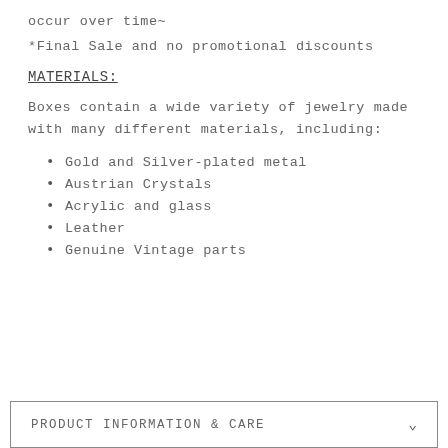occur over time~
*Final Sale and no promotional discounts
MATERIALS:
Boxes contain a wide variety of jewelry made with many different materials, including:
Gold and Silver-plated metal
Austrian Crystals
Acrylic and glass
Leather
Genuine Vintage parts
PRODUCT INFORMATION & CARE